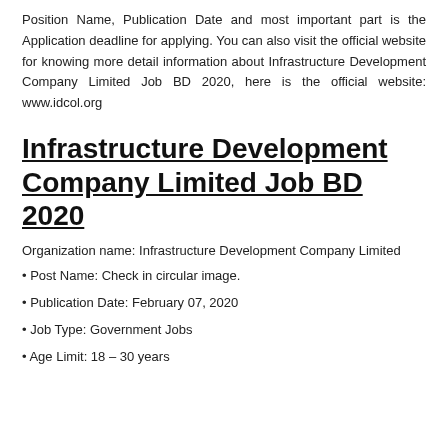Position Name, Publication Date and most important part is the Application deadline for applying. You can also visit the official website for knowing more detail information about Infrastructure Development Company Limited Job BD 2020, here is the official website: www.idcol.org
Infrastructure Development Company Limited Job BD 2020
Organization name: Infrastructure Development Company Limited
• Post Name: Check in circular image.
• Publication Date: February 07, 2020
• Job Type: Government Jobs
• Age Limit: 18 – 30 years